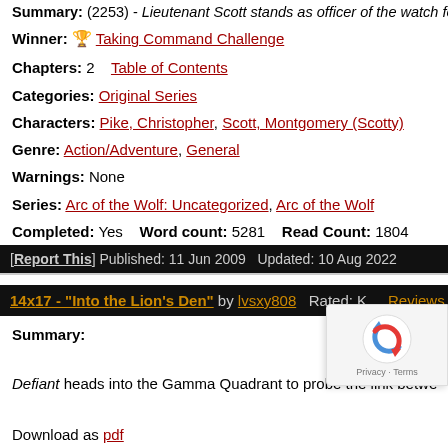Summary: (2253) - Lieutenant Scott stands as officer of the watch for th...
Winner: 🏆 Taking Command Challenge
Chapters: 2   Table of Contents
Categories: Original Series
Characters: Pike, Christopher, Scott, Montgomery (Scotty)
Genre: Action/Adventure, General
Warnings: None
Series: Arc of the Wolf: Uncategorized, Arc of the Wolf
Completed: Yes   Word count: 5281   Read Count: 1804
[Report This] Published: 11 Jun 2009 Updated: 10 Aug 2022
14x17 - "Into the Lion's Den" by lvsxy808   Rated: K   Reviews (0)
Summary:
Defiant heads into the Gamma Quadrant to probe the link between t...
Download as pdf
Download as ebook
Chapters: 7   Table of Contents